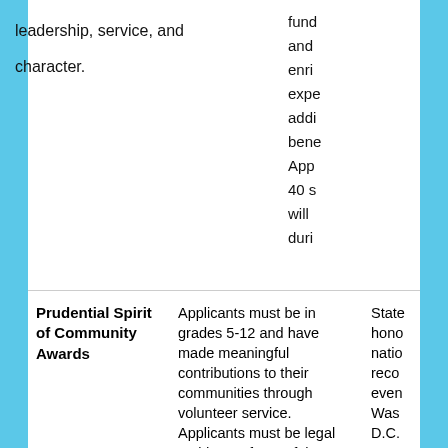leadership, service, and character.
fund and enri expe addi bene App 40 s will duri
Prudential Spirit of Community Awards
Applicants must be in grades 5-12 and have made meaningful contributions to their communities through volunteer service. Applicants must be legal residents of one of the 50 U.S. states or District of Columbia. Volunteer activity must have occurred at least in part after 9/1/2013.
State hono natio reco even Was D.C. Ame yout of th